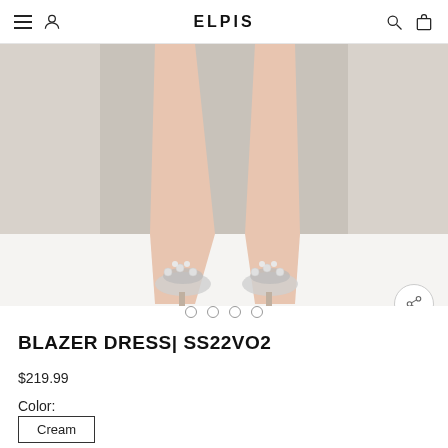ELPIS
[Figure (photo): Close-up photo of a model's legs wearing decorative crystal/rhinestone heeled sandals, photographed against a neutral beige/white studio background.]
BLAZER DRESS| SS22VO2
$219.99
Color:
Cream